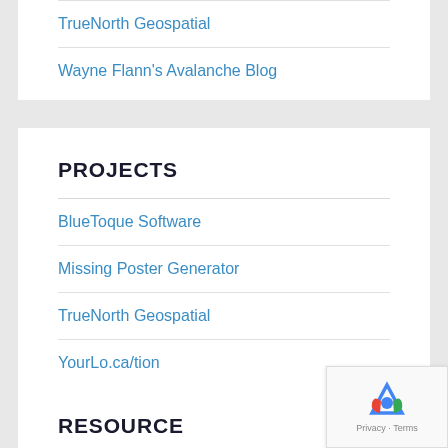TrueNorth Geospatial
Wayne Flann's Avalanche Blog
PROJECTS
BlueToque Software
Missing Poster Generator
TrueNorth Geospatial
YourLo.ca/tion
RESOURCE